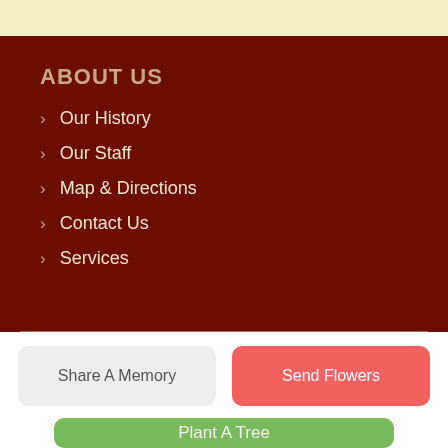ABOUT US
Our History
Our Staff
Map & Directions
Contact Us
Services
Share A Memory
Send Flowers
Plant A Tree